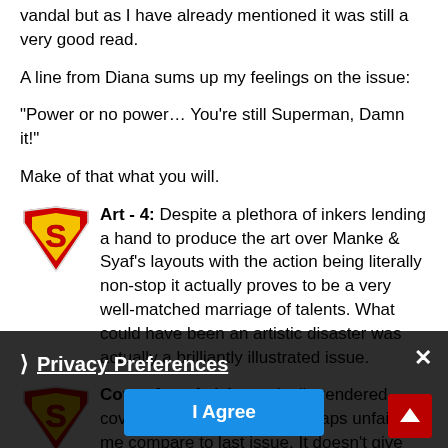vandal but as I have already mentioned it was still a very good read.
A line from Diana sums up my feelings on the issue:
"Power or no power… You're still Superman, Damn it!"
Make of that what you will.
[Figure (logo): Superman shield logo (red and yellow diamond S emblem)]
Art - 4: Despite a plethora of inkers lending a hand to produce the art over Manke & Syaf's layouts with the action being literally non-stop it actually proves to be a very well-matched marriage of talents. What could have been an artistic disaster was actually a brilliantly illustrated issue.
[Figure (logo): Superman shield logo (red and yellow diamond S emblem)]
Cover Art - 4: A fantastically rendered cover, especially though perhaps unfairly of me compared to last issue. It doesn't give away the story inside but it prepares you for the tone and action in the book. I deliberately avoided the spoilerific comics news sites had shown around of Wonder Woman's role but with art of this calibre I definitely wasn't going to look. On the basis of...
Privacy Preferences
I Agree